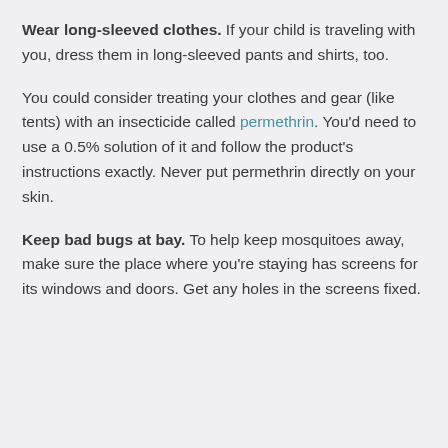Wear long-sleeved clothes. If your child is traveling with you, dress them in long-sleeved pants and shirts, too.
You could consider treating your clothes and gear (like tents) with an insecticide called permethrin. You'd need to use a 0.5% solution of it and follow the product's instructions exactly. Never put permethrin directly on your skin.
Keep bad bugs at bay. To help keep mosquitoes away, make sure the place where you're staying has screens for its windows and doors. Get any holes in the screens fixed.